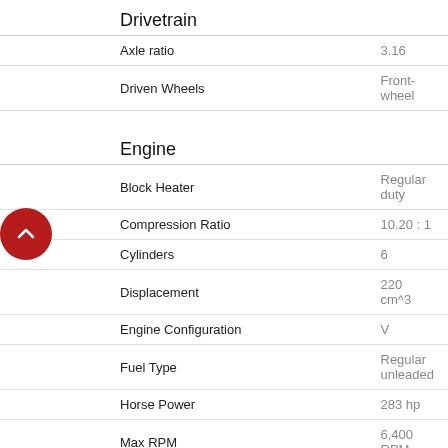Drivetrain
| Attribute | Value |
| --- | --- |
| Axle ratio | 3.16 |
| Driven Wheels | Front-wheel |
Engine
| Attribute | Value |
| --- | --- |
| Block Heater | Regular duty |
| Compression Ratio | 10.20 : 1 |
| Cylinders | 6 |
| Displacement | 220 cm^3 |
| Engine Configuration | V |
| Fuel Type | Regular unleaded |
| Horse Power | 283 hp |
| Max RPM | 6,400 RPM |
| Max Torque RPM | 6,400 RPM |
| Size | 3.6 L |
| Torque | 353 Nm |
| Total Valves | 24 |
| Type | Regular unleaded |